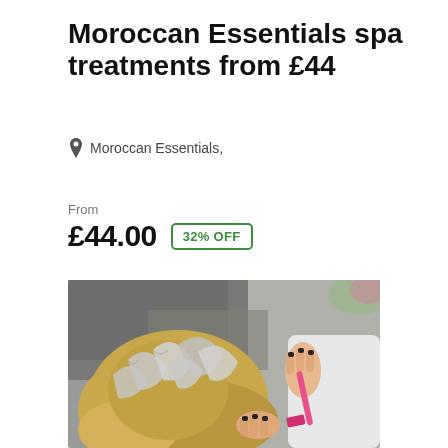Moroccan Essentials spa treatments from £44
Moroccan Essentials,
From
£44.00  32% OFF
[Figure (photo): A hairstylist applying foil highlights to a client's blonde hair using a pink brush in a salon setting.]